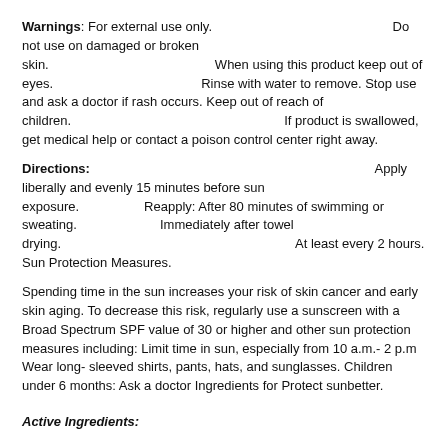Warnings: For external use only. Do not use on damaged or broken skin. When using this product keep out of eyes. Rinse with water to remove. Stop use and ask a doctor if rash occurs. Keep out of reach of children. If product is swallowed, get medical help or contact a poison control center right away.
Directions: Apply liberally and evenly 15 minutes before sun exposure. Reapply: After 80 minutes of swimming or sweating. Immediately after towel drying. At least every 2 hours. Sun Protection Measures.
Spending time in the sun increases your risk of skin cancer and early skin aging. To decrease this risk, regularly use a sunscreen with a Broad Spectrum SPF value of 30 or higher and other sun protection measures including: Limit time in sun, especially from 10 a.m.- 2 p.m Wear long-sleeved shirts, pants, hats, and sunglasses. Children under 6 months: Ask a doctor Ingredients for Protect sunbetter.
Active Ingredients: